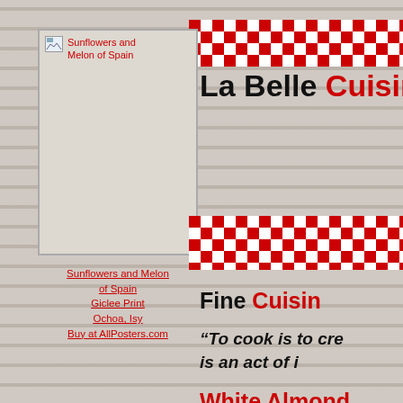[Figure (illustration): Image placeholder showing 'Sunflowers and Melon of Spain' with a small broken image icon in top-left corner, red caption text]
Sunflowers and Melon of Spain
Giclee Print
Ochoa, Isy
Buy at AllPosters.com
[Figure (illustration): Red and white checkerboard decorative banner strip at top right]
La Belle Cuisine
[Figure (illustration): Red and white checkerboard decorative banner strip in middle right]
Fine Cuisine
"To cook is to cre... is an act of i...
White Almond
[Figure (illustration): Small image placeholder labeled 'Sur La...']
Sur La Table